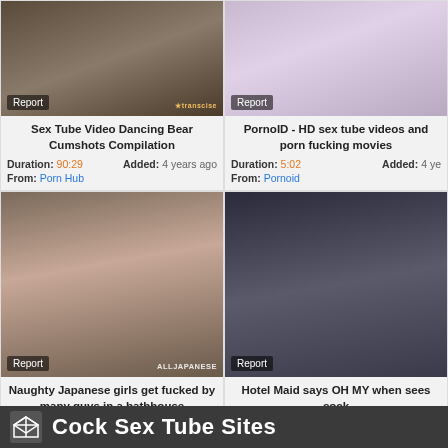[Figure (screenshot): Video thumbnail for Sex Tube Video Dancing Bear Cumshots Compilation with Report badge]
Sex Tube Video Dancing Bear Cumshots Compilation
Duration: 90:29   Added: 4 years ago
From: Porn Hub
[Figure (screenshot): Video thumbnail for PornoID - HD sex tube videos and porn fucking movies with Report badge]
PornoID - HD sex tube videos and porn fucking movies
Duration: 5:02   Added: 4 years ago
From: Pornoid
[Figure (screenshot): Video thumbnail for Naughty Japanese girls get fucked by many guys in a bathhouse with Report badge and ALLJAPANESE watermark]
Naughty Japanese girls get fucked by many guys in a bathhouse
Duration: 5:00   Added: 8 years ago
From: Bravo Tube
[Figure (screenshot): Video thumbnail for Hotel Maid says OH MY when sees cock with Report badge]
Hotel Maid says OH MY when sees cock
Duration: 0:12   Added: 4 years ago
From: xHamster
Cock Sex Tube Sites